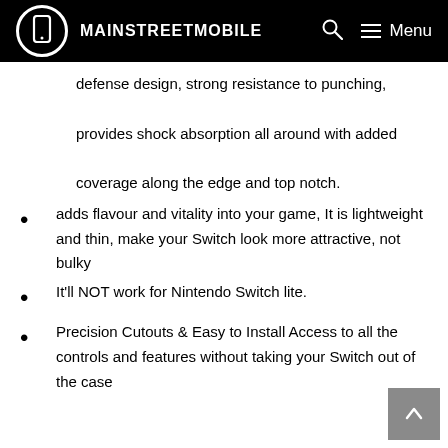MAINSTREETMOBILE
defense design, strong resistance to punching, provides shock absorption all around with added coverage along the edge and top notch.
adds flavour and vitality into your game, It is lightweight and thin, make your Switch look more attractive, not bulky
It'll NOT work for Nintendo Switch lite.
Precision Cutouts & Easy to Install Access to all the controls and features without taking your Switch out of the case